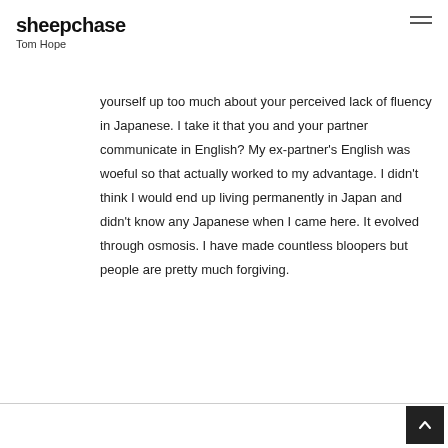sheepchase
Tom Hope
yourself up too much about your perceived lack of fluency in Japanese. I take it that you and your partner communicate in English? My ex-partner's English was woeful so that actually worked to my advantage. I didn't think I would end up living permanently in Japan and didn't know any Japanese when I came here. It evolved through osmosis. I have made countless bloopers but people are pretty much forgiving.